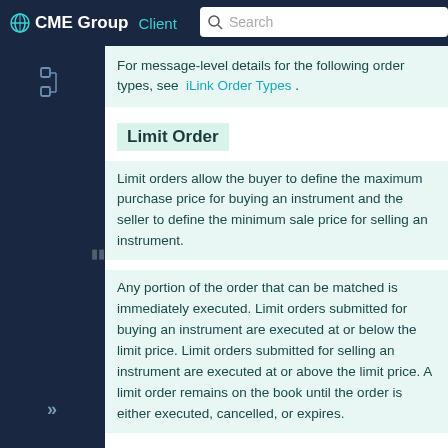CME Group | Client | Search
For message-level details for the following order types, see iLink Order Types.
Limit Order
Limit orders allow the buyer to define the maximum purchase price for buying an instrument and the seller to define the minimum sale price for selling an instrument.
Any portion of the order that can be matched is immediately executed. Limit orders submitted for buying an instrument are executed at or below the limit price. Limit orders submitted for selling an instrument are executed at or above the limit price. A limit order remains on the book until the order is either executed, cancelled, or expires.
Market-Limit Order